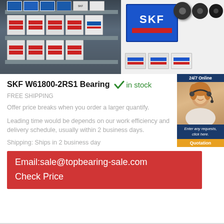[Figure (photo): Left: shelves stocked with red-and-white labeled SKF bearing boxes in a warehouse. Right: SKF branded blue box with bearings and SKF logo on white background.]
SKF W61800-2RS1 Bearing  ✓ in stock
FREE SHIPPING
Offer price breaks when you order a larger quantify.
Leading time would be depends on our work efficiency and delivery schedule, usually within 2 business days.
Shipping: Ships in 2 business day
Email:sale@topbearing-sale.com
Check Price
[Figure (photo): Side widget showing a customer service agent with headset, text '24/7 Online', 'Enter any requests, click here.', and an orange 'Quotation' button.]